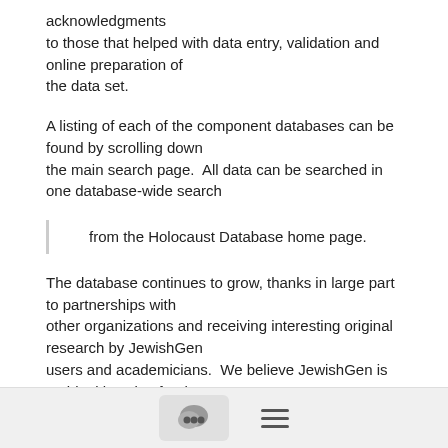acknowledgments to those that helped with data entry, validation and online preparation of the data set.
A listing of each of the component databases can be found by scrolling down the main search page.  All data can be searched in one database-wide search
from the Holocaust Database home page.
The database continues to grow, thanks in large part to partnerships with other organizations and receiving interesting original research by JewishGen users and academicians.  We believe JewishGen is an ideal location for the preservation and "publishing" of these pieces.
[Figure (other): Bottom navigation bar with a chat bubble icon button and a hamburger menu icon]